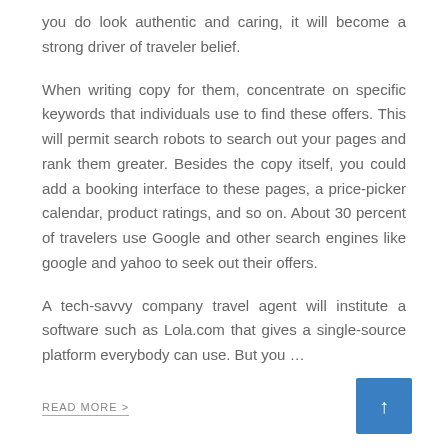you do look authentic and caring, it will become a strong driver of traveler belief.
When writing copy for them, concentrate on specific keywords that individuals use to find these offers. This will permit search robots to search out your pages and rank them greater. Besides the copy itself, you could add a booking interface to these pages, a price-picker calendar, product ratings, and so on. About 30 percent of travelers use Google and other search engines like google and yahoo to seek out their offers.
A tech-savvy company travel agent will institute a software such as Lola.com that gives a single-source platform everybody can use. But you …
READ MORE >